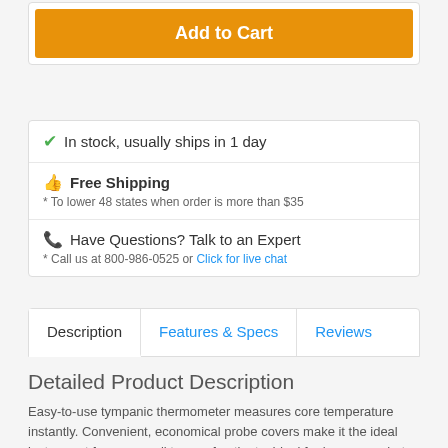Add to Cart
✔ In stock, usually ships in 1 day
👍 Free Shipping
* To lower 48 states when order is more than $35
📞 Have Questions? Talk to an Expert
* Call us at 800-986-0525 or Click for live chat
Description | Features & Specs | Reviews
Detailed Product Description
Easy-to-use tympanic thermometer measures core temperature instantly. Convenient, economical probe covers make it the ideal instrument for use on all types of patients. Ideal for home use, but disposable probe covers are designed for professional markets as well.